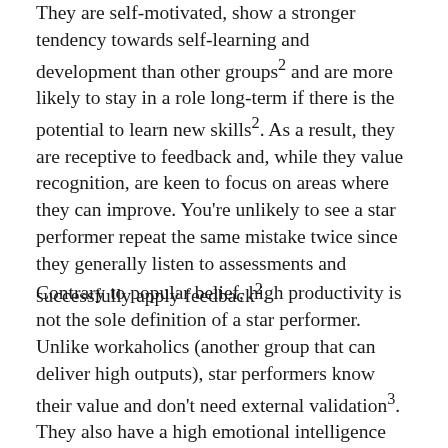They are self-motivated, show a stronger tendency towards self-learning and development than other groups² and are more likely to stay in a role long-term if there is the potential to learn new skills². As a result, they are receptive to feedback and, while they value recognition, are keen to focus on areas where they can improve. You're unlikely to see a star performer repeat the same mistake twice since they generally listen to assessments and successfully apply feedback².
Contrary to popular belief, high productivity is not the sole definition of a star performer. Unlike workaholics (another group that can deliver high outputs), star performers know their value and don't need external validation³. They also have a high emotional intelligence with an increased tolerance for stress, and typically display traits including